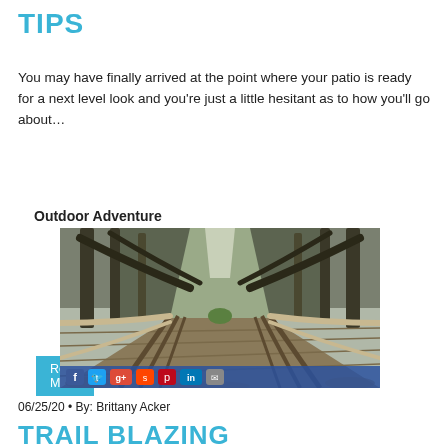TIPS
You may have finally arrived at the point where your patio is ready for a next level look and you’re just a little hesitant as to how you’ll go about…
Read More
Outdoor Adventure
[Figure (photo): A wooden boardwalk path leading through tall trees in an autumn forest, with curved wooden railings on each side, perspective view leading into the distance. Social media sharing icons (Facebook, Twitter, Google+, Reddit, Pinterest, LinkedIn, Email) overlay the bottom of the image.]
06/25/20 • By: Brittany Acker
TRAIL BLAZING